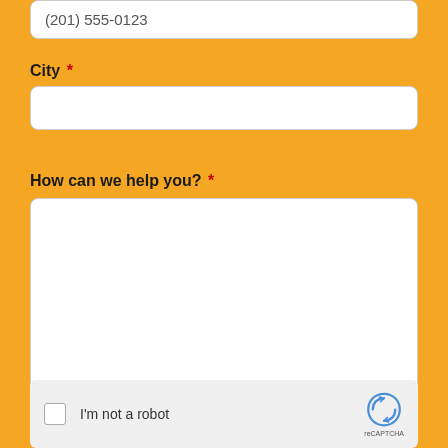(201) 555-0123
City *
How can we help you? *
I'm not a robot